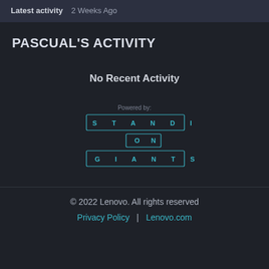Latest activity   2 Weeks Ago
PASCUAL'S ACTIVITY
No Recent Activity
[Figure (logo): Standing on Giants logo: text arranged in three rows with letter-spaced characters in bordered boxes — 'S T A N D I N G' on top row, 'O N' on middle row, 'G I A N T S' on bottom row, teal/cyan outline style]
© 2022 Lenovo. All rights reserved
Privacy Policy | Lenovo.com